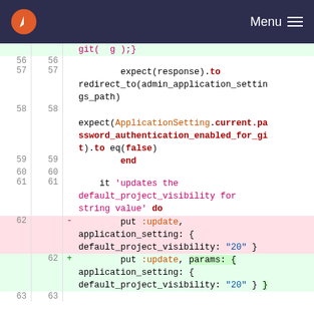[Figure (screenshot): Navigation bar with logo and Menu button on dark background]
Code diff view showing lines 56-63 of a Ruby file with git diff markup. Lines show expect(response).to redirect_to, expect(ApplicationSetting.current.password_authentication_enabled_for_git).to eq(false), end, and a test 'updates the default_project_visibility for string value' do. Lines 62 show deleted put :update, application_setting: { default_project_visibility: "20" } and added put :update, params: { application_setting: { default_project_visibility: "20" } }